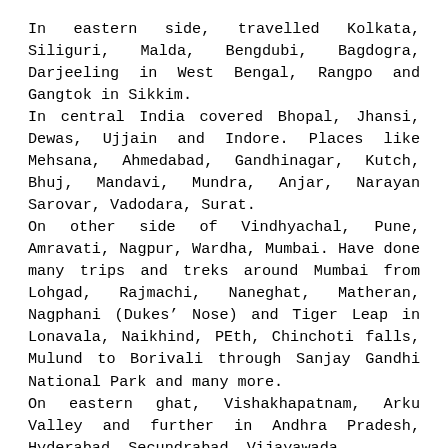In eastern side, travelled Kolkata, Siliguri, Malda, Bengdubi, Bagdogra, Darjeeling in West Bengal, Rangpo and Gangtok in Sikkim.
In central India covered Bhopal, Jhansi, Dewas, Ujjain and Indore. Places like Mehsana, Ahmedabad, Gandhinagar, Kutch, Bhuj, Mandavi, Mundra, Anjar, Narayan Sarovar, Vadodara, Surat.
On other side of Vindhyachal, Pune, Amravati, Nagpur, Wardha, Mumbai. Have done many trips and treks around Mumbai from Lohgad, Rajmachi, Naneghat, Matheran, Nagphani (Dukes’ Nose) and Tiger Leap in Lonavala, Naikhind, PEth, Chinchoti falls, Mulund to Borivali through Sanjay Gandhi National Park and many more.
On eastern ghat, Vishakhapatnam, Arku Valley and further in Andhra Pradesh, Hyderabad, Secundrabad, Vijayawada.
In neighbouring state Karnataka, have been to Bangalore and Mysore.
In southern state Tamilnadu covered Chennai and Rameswaram whereas in Kerala have visited Kanyakumari and Trivendrum.
Nestled in western ghat, Goa is one where I have been too.
Since these all travels happened over a lot of time and had